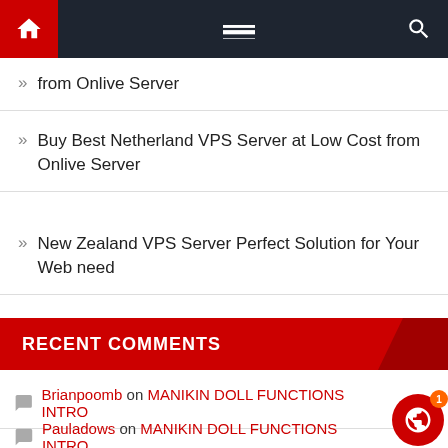Navigation bar with home, menu, and search icons
from Onlive Server
Buy Best Netherland VPS Server at Low Cost from Onlive Server
New Zealand VPS Server Perfect Solution for Your Web need
RECENT COMMENTS
Brianpoomb on MANIKIN DOLL FUNCTIONS INTRO
Pauladows on MANIKIN DOLL FUNCTIONS INTRO
ThomasBon on MANIKIN DOLL FUNCTIONS INTRO